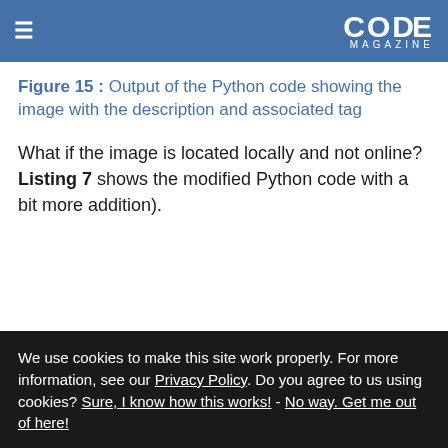CODE MAGAZINE
Figure 15 : Output of the Python code showing the image with the description and associated tag
What if the image is located locally and not online? Listing 7 shows the modified Python code with a bit more addition).
Listing 7: Modified Python code for an image that is located locally
import requests
We use cookies to make this site work properly. For more information, see our Privacy Policy. Do you agree to us using cookies? Sure, I know how this works! - No way. Get me out of here!